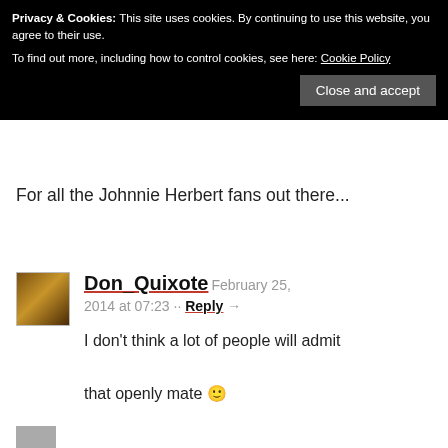Kev H'ng — February 25, 2014 →
Privacy & Cookies: This site uses cookies. By continuing to use this website, you agree to their use.
To find out more, including how to control cookies, see here: Cookie Policy
Close and accept
For all the Johnnie Herbert fans out there...
Don_Quixote  February 25, 2014 at 07:23 ·· Reply →
I don't think a lot of people will admit that openly mate 🙂